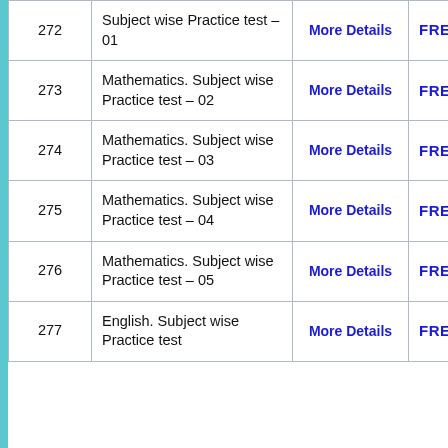| # | Description | More | Access |
| --- | --- | --- | --- |
| 272 | Subject wise Practice test – 01 | More Details | FREE |
| 273 | Mathematics. Subject wise Practice test – 02 | More Details | FREE |
| 274 | Mathematics. Subject wise Practice test – 03 | More Details | FREE |
| 275 | Mathematics. Subject wise Practice test – 04 | More Details | FREE |
| 276 | Mathematics. Subject wise Practice test – 05 | More Details | FREE |
| 277 | English. Subject wise Practice test | More Details | FREE |